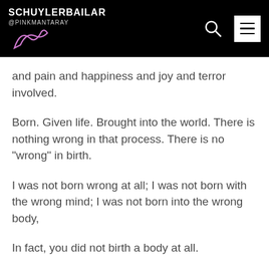SCHUYLERBAILAR @PINKMANTARAY
and pain and happiness and joy and terror involved.
Born. Given life. Brought into the world. There is nothing wrong in that process. There is no "wrong" in birth.
I was not born wrong at all; I was not born with the wrong mind; I was not born into the wrong body,
In fact, you did not birth a body at all.